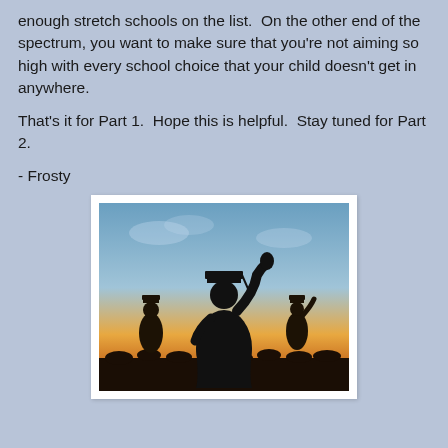enough stretch schools on the list.  On the other end of the spectrum, you want to make sure that you're not aiming so high with every school choice that your child doesn't get in anywhere.
That's it for Part 1.  Hope this is helpful.  Stay tuned for Part 2.
- Frosty
[Figure (photo): Silhouette of a graduating student in cap and gown raising their arm against a sunset sky, with other graduates visible in the background and a crowd below.]